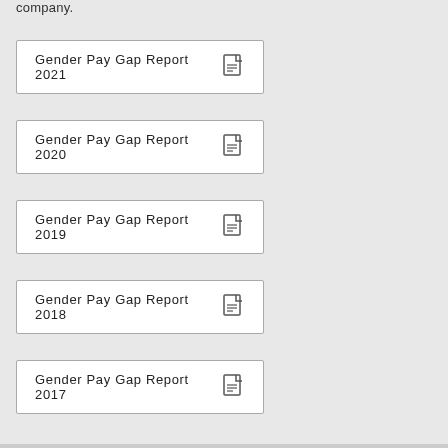company.
Gender Pay Gap Report 2021
Gender Pay Gap Report 2020
Gender Pay Gap Report 2019
Gender Pay Gap Report 2018
Gender Pay Gap Report 2017